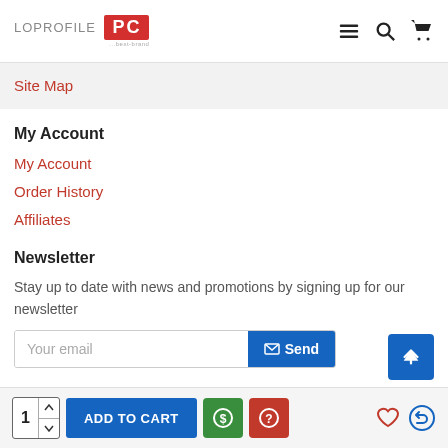[Figure (logo): LOPROFILE PC logo with red box]
Site Map
My Account
My Account
Order History
Affiliates
Newsletter
Stay up to date with news and promotions by signing up for our newsletter
[Figure (screenshot): Email input field with Your email placeholder and Send button]
[Figure (other): Back to top blue button with arrow]
[Figure (other): Bottom bar with quantity selector, ADD TO CART button, dollar button, question button, heart and return icons]